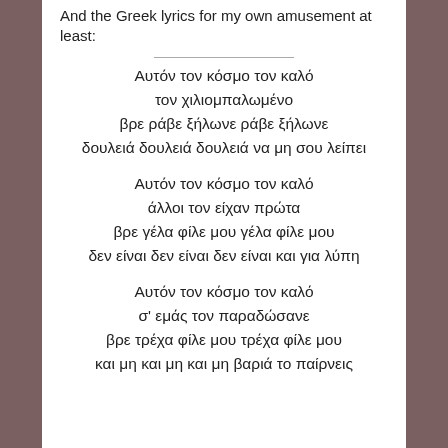And the Greek lyrics for my own amusement at least:
Αυτόν τον κόσμο τον καλό
τον χιλιομπαλωμένο
βρε ράβε ξήλωνε ράβε ξήλωνε
δουλειά δουλειά δουλειά να μη σου λείπει
Αυτόν τον κόσμο τον καλό
άλλοι τον είχαν πρώτα
βρε γέλα φίλε μου γέλα φίλε μου
δεν είναι δεν είναι δεν είναι και για λύπη
Αυτόν τον κόσμο τον καλό
σ' εμάς τον παραδώσανε
βρε τρέχα φίλε μου τρέχα φίλε μου
και μη και μη και μη βαριά το παίρνεις